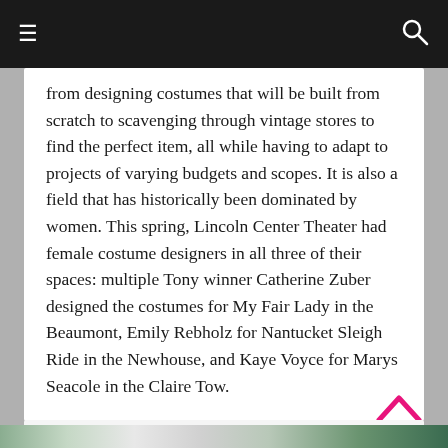☰  [navigation]  🔍
from designing costumes that will be built from scratch to scavenging through vintage stores to find the perfect item, all while having to adapt to projects of varying budgets and scopes. It is also a field that has historically been dominated by women. This spring, Lincoln Center Theater had female costume designers in all three of their spaces: multiple Tony winner Catherine Zuber designed the costumes for My Fair Lady in the Beaumont, Emily Rebholz for Nantucket Sleigh Ride in the Newhouse, and Kaye Voyce for Marys Seacole in the Claire Tow.
[Figure (photo): Bottom strip showing a partial photograph of people, likely in costume or theatrical setting, with green and grey tones.]